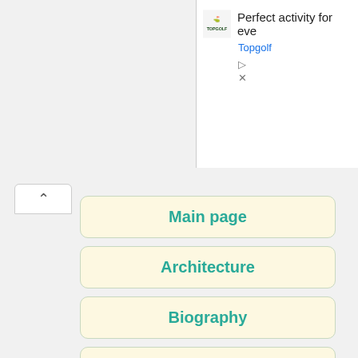[Figure (screenshot): Topgolf advertisement banner with logo, text 'Perfect activity for eve...' and brand name 'Topgolf' in blue, with ad control icons below]
Main page
Architecture
Biography
Business
Crime
Culture
Economics
Education